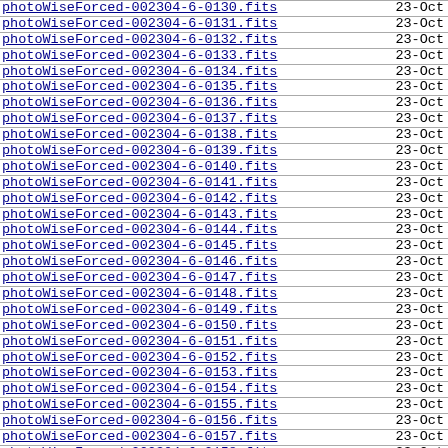photoWiseForced-002304-6-0130.fits  23-Oct
photoWiseForced-002304-6-0131.fits  23-Oct
photoWiseForced-002304-6-0132.fits  23-Oct
photoWiseForced-002304-6-0133.fits  23-Oct
photoWiseForced-002304-6-0134.fits  23-Oct
photoWiseForced-002304-6-0135.fits  23-Oct
photoWiseForced-002304-6-0136.fits  23-Oct
photoWiseForced-002304-6-0137.fits  23-Oct
photoWiseForced-002304-6-0138.fits  23-Oct
photoWiseForced-002304-6-0139.fits  23-Oct
photoWiseForced-002304-6-0140.fits  23-Oct
photoWiseForced-002304-6-0141.fits  23-Oct
photoWiseForced-002304-6-0142.fits  23-Oct
photoWiseForced-002304-6-0143.fits  23-Oct
photoWiseForced-002304-6-0144.fits  23-Oct
photoWiseForced-002304-6-0145.fits  23-Oct
photoWiseForced-002304-6-0146.fits  23-Oct
photoWiseForced-002304-6-0147.fits  23-Oct
photoWiseForced-002304-6-0148.fits  23-Oct
photoWiseForced-002304-6-0149.fits  23-Oct
photoWiseForced-002304-6-0150.fits  23-Oct
photoWiseForced-002304-6-0151.fits  23-Oct
photoWiseForced-002304-6-0152.fits  23-Oct
photoWiseForced-002304-6-0153.fits  23-Oct
photoWiseForced-002304-6-0154.fits  23-Oct
photoWiseForced-002304-6-0155.fits  23-Oct
photoWiseForced-002304-6-0156.fits  23-Oct
photoWiseForced-002304-6-0157.fits  23-Oct
photoWiseForced-002304-6-0158.fits  23-Oct
photoWiseForced-002304-6-0159.fits  23-Oct